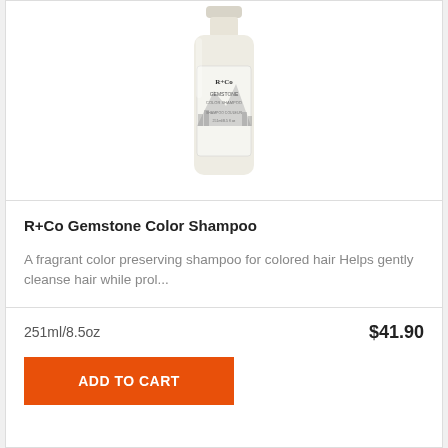[Figure (photo): A bottle of R+Co Gemstone Color Shampoo, cream-colored bottle with illustrated label showing mountains and trees.]
R+Co Gemstone Color Shampoo
A fragrant color preserving shampoo for colored hair Helps gently cleanse hair while prol...
251ml/8.5oz
$41.90
ADD TO CART